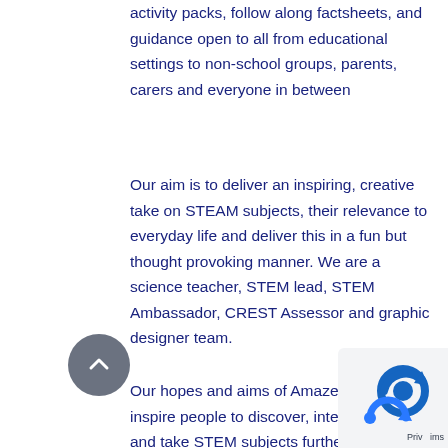activity packs, follow along factsheets, and guidance open to all from educational settings to non-school groups, parents, carers and everyone in between
Our aim is to deliver an inspiring, creative take on STEAM subjects, their relevance to everyday life and deliver this in a fun but thought provoking manner. We are a science teacher, STEM lead, STEM Ambassador, CREST Assessor and graphic designer team.
Our hopes and aims of Amazelab are to inspire people to discover, interact, enjoy and take STEM subjects further thanks to science experiments for kids. We do not know yet who the next Tim Peake, Rosalind Franklin or David Attenborough will be but it's exciting to think of the discoveries that will be made in the future.
[Figure (other): Back to top button (grey circular arrow icon) and privacy/cookie consent overlay in bottom right corner]